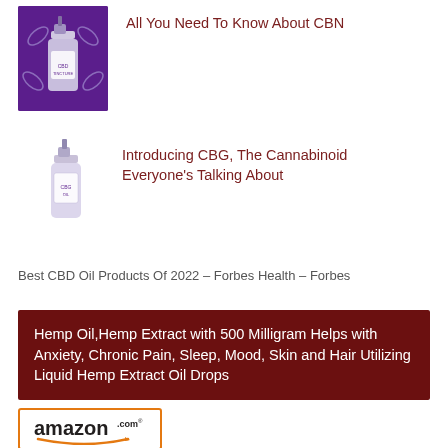[Figure (photo): Purple background product image of a CBD/CBN oil tincture bottle with decorative leaf/hand motifs]
All You Need To Know About CBN
[Figure (photo): White background product image of a CBG oil tincture bottle]
Introducing CBG, The Cannabinoid Everyone’s Talking About
Best CBD Oil Products Of 2022 – Forbes Health – Forbes
Hemp Oil,Hemp Extract with 500 Milligram Helps with Anxiety, Chronic Pain, Sleep, Mood, Skin and Hair Utilizing Liquid Hemp Extract Oil Drops
[Figure (logo): Amazon.com logo with orange arrow]